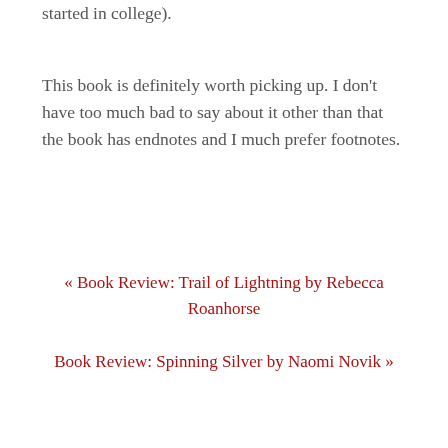rediminishing my interest in the Great Wall (which started in college).
This book is definitely worth picking up. I don't have too much bad to say about it other than that the book has endnotes and I much prefer footnotes.
« Book Review: Trail of Lightning by Rebecca Roanhorse
Book Review: Spinning Silver by Naomi Novik »